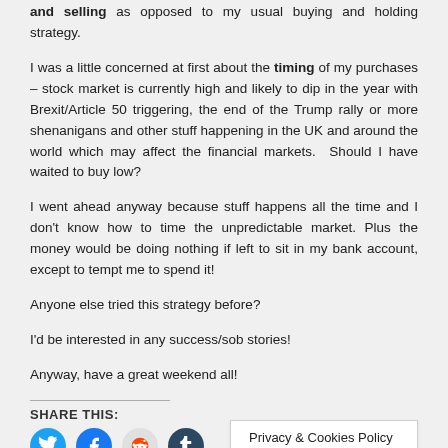and selling as opposed to my usual buying and holding strategy.
I was a little concerned at first about the timing of my purchases – stock market is currently high and likely to dip in the year with Brexit/Article 50 triggering, the end of the Trump rally or more shenanigans and other stuff happening in the UK and around the world which may affect the financial markets.  Should I have waited to buy low?
I went ahead anyway because stuff happens all the time and I don't know how to time the unpredictable market. Plus the money would be doing nothing if left to sit in my bank account, except to tempt me to spend it!
Anyone else tried this strategy before?
I'd be interested in any success/sob stories!
Anyway, have a great weekend all!
SHARE THIS:
[Figure (infographic): Social media share buttons: Twitter (blue circle), Facebook (blue circle), Reddit (light grey circle), Tumblr (dark navy circle), and a Privacy & Cookies Policy overlay box.]